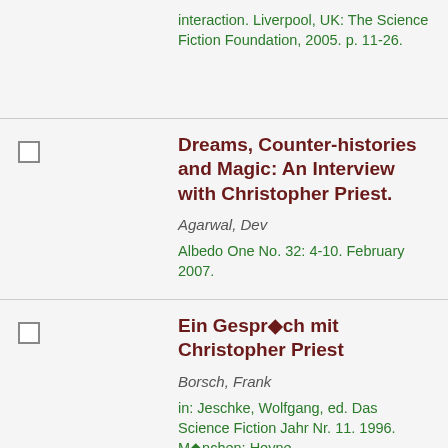interaction. Liverpool, UK: The Science Fiction Foundation, 2005. p. 11-26.
Dreams, Counter-histories and Magic: An Interview with Christopher Priest. Agarwal, Dev. Albedo One No. 32: 4-10. February 2007.
Ein Gespr�ch mit Christopher Priest. Borsch, Frank. in: Jeschke, Wolfgang, ed. Das Science Fiction Jahr Nr. 11. 1996. M�nchen: Heyne.